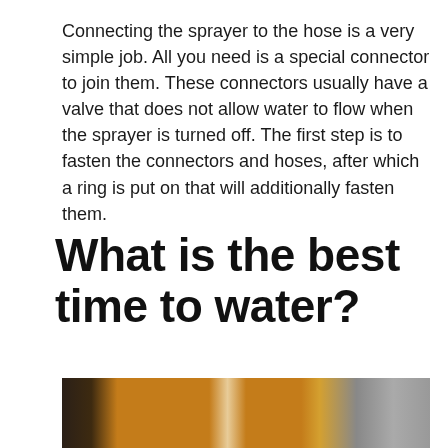Connecting the sprayer to the hose is a very simple job. All you need is a special connector to join them. These connectors usually have a valve that does not allow water to flow when the sprayer is turned off. The first step is to fasten the connectors and hoses, after which a ring is put on that will additionally fasten them.
What is the best time to water?
[Figure (photo): A person wearing a yellow jacket holding a green plant or watering device, with wooden crates visible in the background.]